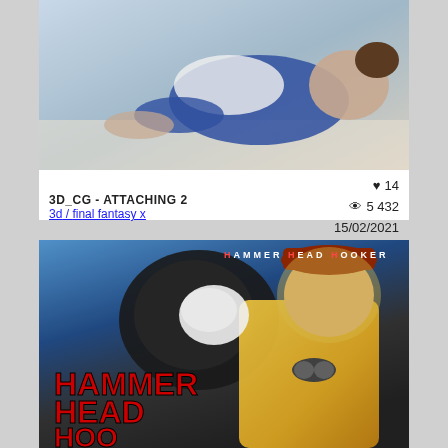[Figure (illustration): 3D CG render of an anime-style figure in a blue swimsuit lying down, viewed from behind]
3D_CG - ATTACHING 2
3d / final fantasy x
♥ 14  👁 5432  15/02/2021
[Figure (illustration): Anime illustration cover art titled HAMMER HEAD HOOKER featuring a blonde female mechanic character in yellow jacket with goggles and red text reading HAMMER HEAD HOOKER]